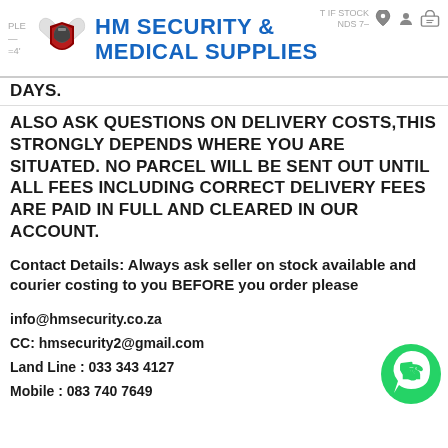HM SECURITY & MEDICAL SUPPLIES
DAYS.
ALSO ASK QUESTIONS ON DELIVERY COSTS,THIS STRONGLY DEPENDS WHERE YOU ARE SITUATED. NO PARCEL WILL BE SENT OUT UNTIL ALL FEES INCLUDING CORRECT DELIVERY FEES ARE PAID IN FULL AND CLEARED IN OUR ACCOUNT.
Contact Details: Always ask seller on stock available and courier costing to you BEFORE you order please
info@hmsecurity.co.za
CC: hmsecurity2@gmail.com
Land Line : 033 343 4127
Mobile : 083 740 7649